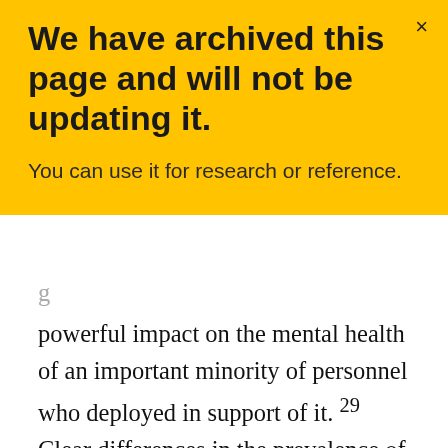We have archived this page and will not be updating it.
You can use it for research or reference.
powerful impact on the mental health of an important minority of personnel who deployed in support of it. 29 Clear differences in the prevalence of mental disorders among personnel who deployed in support of that mission and